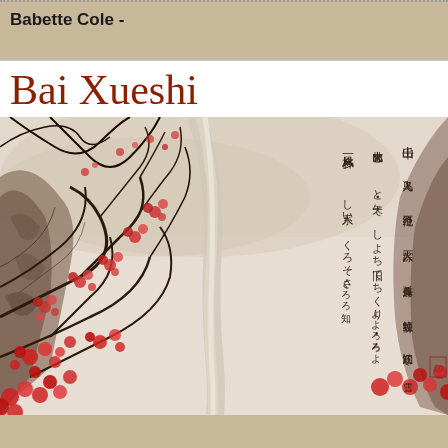Babette Cole -
Bai Xueshi
[Figure (illustration): Chinese ink and wash landscape painting showing plum blossom trees with red flowers, a waterfall cascading between rocky cliffs, misty mountains in the background, and vertical columns of Chinese calligraphy text on the right side.]